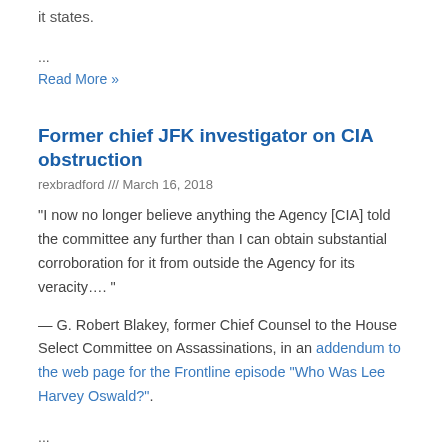it states.
...
Read More »
Former chief JFK investigator on CIA obstruction
rexbradford /// March 16, 2018
"I now no longer believe anything the Agency [CIA] told the committee any further than I can obtain substantial corroboration for it from outside the Agency for its veracity…. "
— G. Robert Blakey, former Chief Counsel to the House Select Committee on Assassinations, in an addendum to the web page for the Frontline episode "Who Was Lee Harvey Oswald?".
...